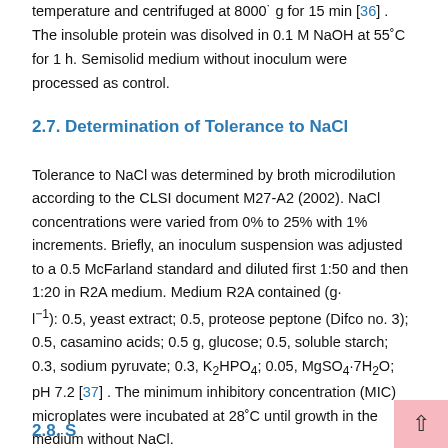temperature and centrifuged at 8000˙ g for 15 min [36] . The insoluble protein was disolved in 0.1 M NaOH at 55˚C for 1 h. Semisolid medium without inoculum were processed as control.
2.7. Determination of Tolerance to NaCl
Tolerance to NaCl was determined by broth microdilution according to the CLSI document M27-A2 (2002). NaCl concentrations were varied from 0% to 25% with 1% increments. Briefly, an inoculum suspension was adjusted to a 0.5 McFarland standard and diluted first 1:50 and then 1:20 in R2A medium. Medium R2A contained (g· l⁻¹): 0.5, yeast extract; 0.5, proteose peptone (Difco no. 3); 0.5, casamino acids; 0.5 g, glucose; 0.5, soluble starch; 0.3, sodium pyruvate; 0.3, K₂HPO₄; 0.05, MgSO₄·7H₂O; pH 7.2 [37] . The minimum inhibitory concentration (MIC) microplates were incubated at 28˚C until growth in the medium without NaCl.
2.8. Sequence Accession Numbers